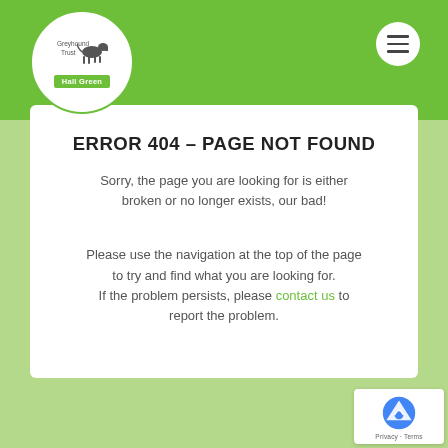Greyhound Trust Hall Green
ERROR 404 – PAGE NOT FOUND
Sorry, the page you are looking for is either broken or no longer exists, our bad!
Please use the navigation at the top of the page to try and find what you are looking for. If the problem persists, please contact us to report the problem.